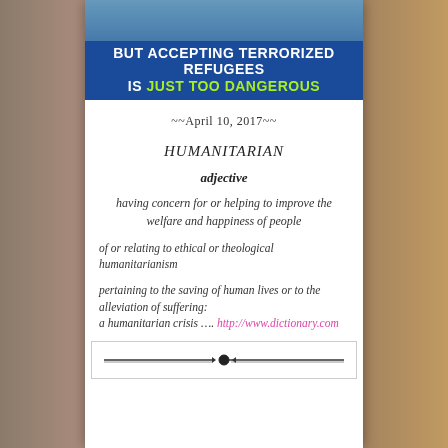[Figure (photo): Banner image showing a person in water with blue background and text overlay: 'BUT ACCEPTING TERRORIZED REFUGEES IS JUST TOO DANGEROUS']
~~April 10, 2017~~
HUMANITARIAN
adjective
having concern for or helping to improve the welfare and happiness of people
of or relating to ethical or theological humanitarianism
pertaining to the saving of human lives or to the alleviation of suffering:
a humanitarian crisis …. http://www.dictionary.com
[Figure (illustration): Decorative horizontal divider with ornamental line and diamond/circle centerpiece]